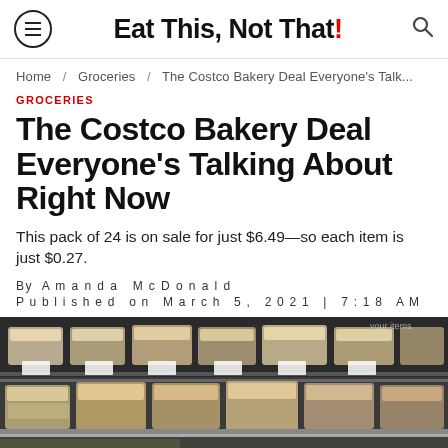Eat This, Not That!
Home / Groceries / The Costco Bakery Deal Everyone's Talk...
GROCERIES
The Costco Bakery Deal Everyone's Talking About Right Now
This pack of 24 is on sale for just $6.49—so each item is just $0.27.
By Amanda McDonald
Published on March 5, 2021 | 7:18 AM
[Figure (photo): Costco bakery shelves with packaged baked goods displayed in clear plastic containers on metal shelving]